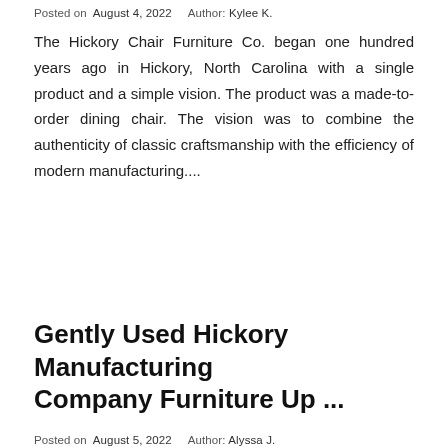Posted on  August 4, 2022     Author: Kylee K.
The Hickory Chair Furniture Co. began one hundred years ago in Hickory, North Carolina with a single product and a simple vision. The product was a made-to-order dining chair. The vision was to combine the authenticity of classic craftsmanship with the efficiency of modern manufacturing....
Gently Used Hickory Manufacturing Company Furniture Up ...
Posted on  August 5, 2022     Author: Alyssa J.